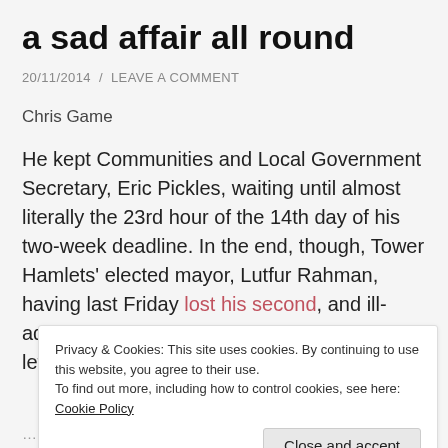a sad affair all round
20/11/2014 / LEAVE A COMMENT
Chris Game
He kept Communities and Local Government Secretary, Eric Pickles, waiting until almost literally the 23rd hour of the 14th day of his two-week deadline. In the end, though, Tower Hamlets' elected mayor, Lutfur Rahman, having last Friday lost his second, and ill-advised, application for a judicial review, was left with little choice
Privacy & Cookies: This site uses cookies. By continuing to use this website, you agree to their use.
To find out more, including how to control cookies, see here: Cookie Policy
Close and accept